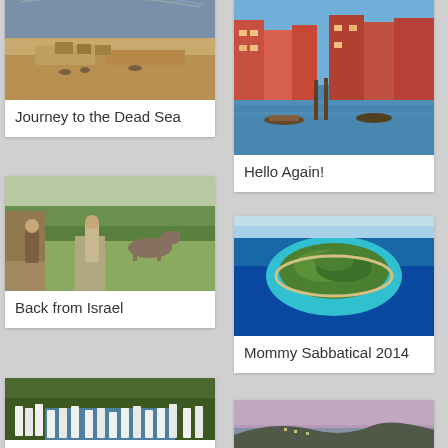[Figure (photo): Desert landscape with sandy terrain, tents and animals, cloudy sky — Dead Sea area]
Journey to the Dead Sea
[Figure (photo): Two robed figures and a donkey in green pastoral field, Israel]
Back from Israel
[Figure (photo): Group of people dressed in white gathered by a river, baptism scene, Jordan River]
Baptism in the Jordan River
[Figure (photo): Canal in Venice with colorful buildings and boats, viewed from water]
Hello Again!
[Figure (photo): Aerial view of a small green island surrounded by turquoise and blue ocean water]
Mommy Sabbatical 2014
[Figure (photo): Coastal cliff and town at dusk or dawn with pink-purple sky and sea]